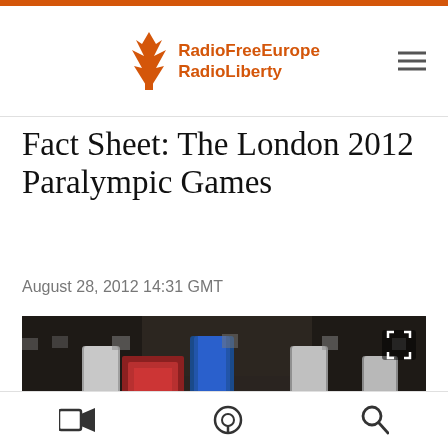RadioFreeEurope RadioLiberty
Fact Sheet: The London 2012 Paralympic Games
August 28, 2012 14:31 GMT
[Figure (photo): Blurred/pixelated photo showing Paralympic athletes or equipment with red, blue, and teal/green colors against a dark background. A fullscreen icon is visible in the top-right corner of the image.]
Bottom toolbar with video, podcast, and search icons